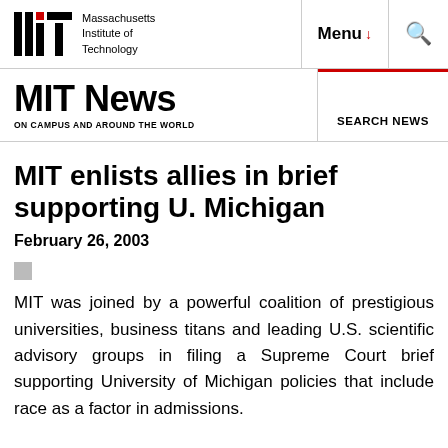Massachusetts Institute of Technology | Menu | Search
MIT News | ON CAMPUS AND AROUND THE WORLD | SEARCH NEWS
MIT enlists allies in brief supporting U. Michigan
February 26, 2003
MIT was joined by a powerful coalition of prestigious universities, business titans and leading U.S. scientific advisory groups in filing a Supreme Court brief supporting University of Michigan policies that include race as a factor in admissions.